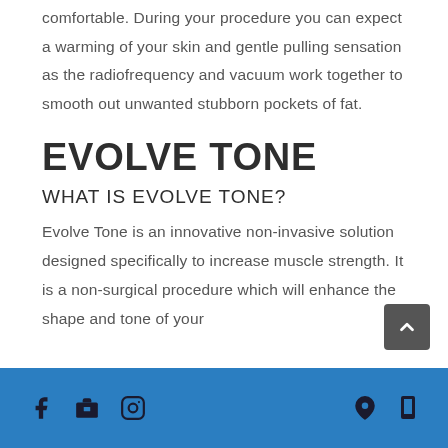comfortable. During your procedure you can expect a warming of your skin and gentle pulling sensation as the radiofrequency and vacuum work together to smooth out unwanted stubborn pockets of fat.
EVOLVE TONE
WHAT IS EVOLVE TONE?
Evolve Tone is an innovative non-invasive solution designed specifically to increase muscle strength. It is a non-surgical procedure which will enhance the shape and tone of your
Social media icons: Facebook, Store, Instagram on left; Location and Phone icons on right